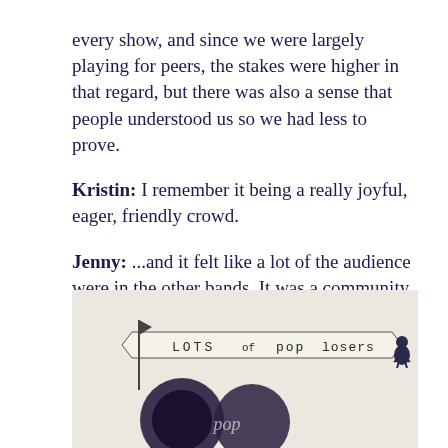every show, and since we were largely playing for peers, the stakes were higher in that regard, but there was also a sense that people understood us so we had less to prove.
Kristin: I remember it being a really joyful, eager, friendly crowd.
Jenny: ...and it felt like a lot of the audience were in the other bands. It was a community event. There wasn't that divide of performer/artist vs consumer/audience.
Kristin: ...which was also cool! It was a time when most of these bands were just starting to tour, so we were all pretty excited to watch each other perform.
[Figure (photo): Photo of a cream/white t-shirt with a printed illustration showing 'LOTS of pop losers' text on a banner, with decorative dark graphic elements below]